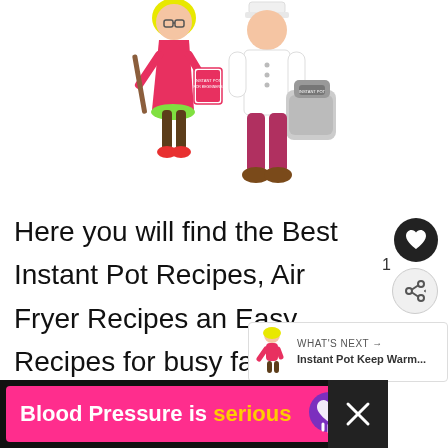[Figure (illustration): Two cartoon characters standing together: a girl in a pink/red dress holding a cookbook, and a taller figure in a white chef's coat holding an Instant Pot appliance. Set against a white background.]
Here you will find the Best Instant Pot Recipes, Air Fryer Recipes an Easy Recipes for busy families.
New to the Instant Pot? Start
[Figure (infographic): Ad banner: 'Blood Pressure is serious' in white and yellow text on a pink/magenta background with a purple heart icon.]